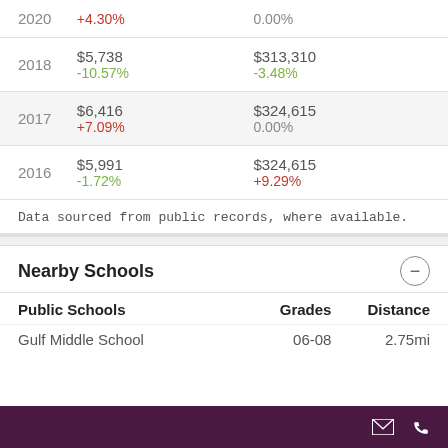| Year | Value 1 | Value 2 |
| --- | --- | --- |
| 2020 | +4.30% | 0.00% |
| 2018 | $5,738
-10.57% | $313,310
-3.48% |
| 2017 | $6,416
+7.09% | $324,615
0.00% |
| 2016 | $5,991
-1.72% | $324,615
+9.29% |
Data sourced from public records, where available.
Nearby Schools
| Public Schools | Grades | Distance |
| --- | --- | --- |
| Gulf Middle School | 06-08 | 2.75mi |